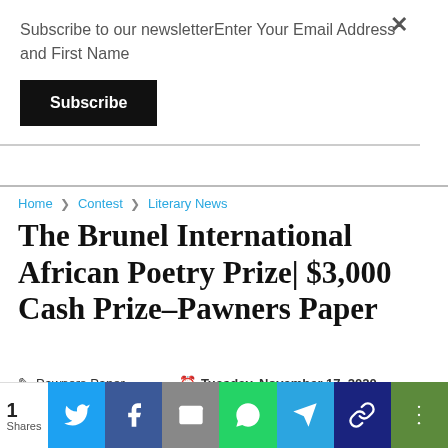Subscribe to our newsletterEnter Your Email Address and First Name
Subscribe
Home > Contest > Literary News
The Brunel International African Poetry Prize| $3,000 Cash Prize– Pawners Paper
Pawners Paper   Tuesday, November 17, 2020
The Brunel International African Poetry Prize is a major annual poetry prize of £3000, aimed at the development
1 Shares